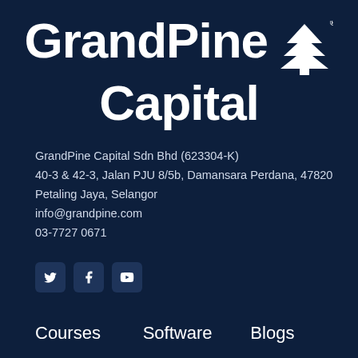[Figure (logo): GrandPine Capital logo with pine tree icon and registered trademark symbol, white text on dark navy background]
GrandPine Capital Sdn Bhd (623304-K)
40-3 & 42-3, Jalan PJU 8/5b, Damansara Perdana, 47820
Petaling Jaya, Selangor
info@grandpine.com
03-7727 0671
[Figure (other): Social media buttons: Twitter, Facebook, YouTube]
Courses
Software
Blogs
Business Investment Strategy
Value Investing Mastery
Algobox
ValueFarm
Shop
About Us